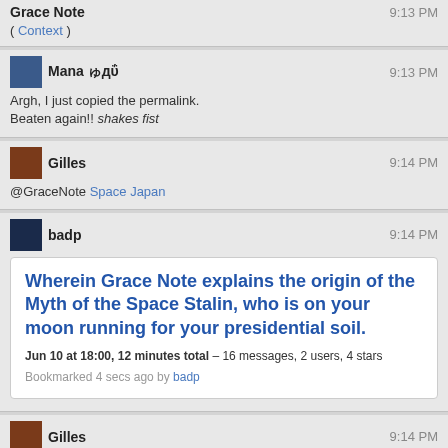( Context )
Mana ゅдΰ  9:13 PM
Argh, I just copied the permalink.
Beaten again!! shakes fist
Gilles  9:14 PM
@GraceNote Space Japan
badp  9:14 PM
Wherein Grace Note explains the origin of the Myth of the Space Stalin, who is on your moon running for your presidential soil.
Jun 10 at 18:00, 12 minutes total – 16 messages, 2 users, 4 stars
Bookmarked 4 secs ago by badp
Gilles  9:14 PM
North Korea
Powerlord  9:16 PM
Hmm... does Baron Wulfenbach still control Europe?
(Also, if I haven't said it before, Girl Genius is a great webcomic by Phil and Kaja...